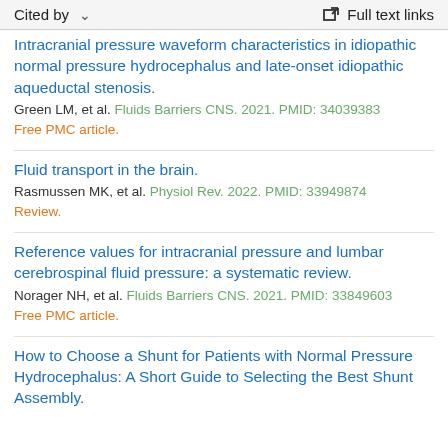Cited by   ∨   Full text links
Intracranial pressure waveform characteristics in idiopathic normal pressure hydrocephalus and late-onset idiopathic aqueductal stenosis.
Green LM, et al. Fluids Barriers CNS. 2021. PMID: 34039383
Free PMC article.
Fluid transport in the brain.
Rasmussen MK, et al. Physiol Rev. 2022. PMID: 33949874
Review.
Reference values for intracranial pressure and lumbar cerebrospinal fluid pressure: a systematic review.
Norager NH, et al. Fluids Barriers CNS. 2021. PMID: 33849603
Free PMC article.
How to Choose a Shunt for Patients with Normal Pressure Hydrocephalus: A Short Guide to Selecting the Best Shunt Assembly.